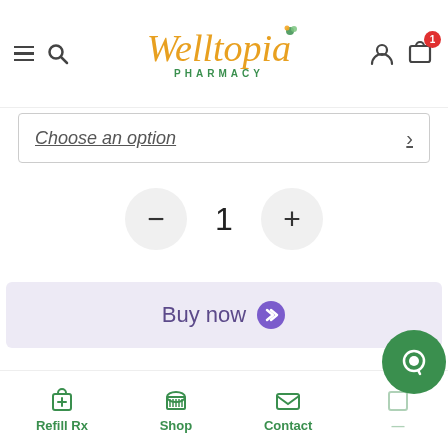Welltopia Pharmacy
Choose an option
1
Buy now
OR
Add To Cart
Refill Rx  Shop  Contact